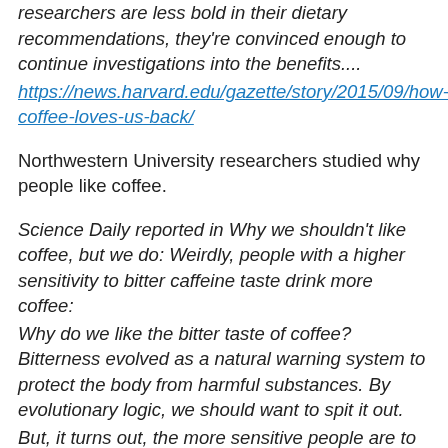researchers are less bold in their dietary recommendations, they're convinced enough to continue investigations into the benefits....
https://news.harvard.edu/gazette/story/2015/09/how-coffee-loves-us-back/
Northwestern University researchers studied why people like coffee.
Science Daily reported in Why we shouldn't like coffee, but we do: Weirdly, people with a higher sensitivity to bitter caffeine taste drink more coffee: Why do we like the bitter taste of coffee? Bitterness evolved as a natural warning system to protect the body from harmful substances. By evolutionary logic, we should want to spit it out. But, it turns out, the more sensitive people are to the bitter